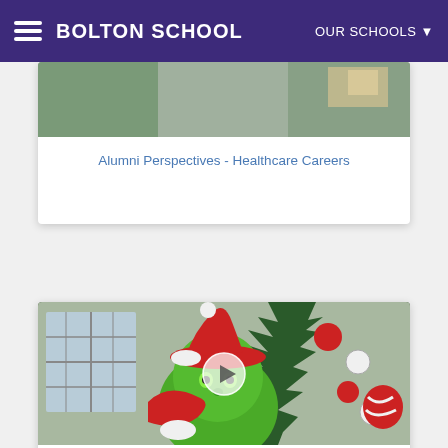BOLTON SCHOOL | OUR SCHOOLS
[Figure (screenshot): Partially visible image card for Alumni Perspectives - Healthcare Careers video thumbnail]
Alumni Perspectives - Healthcare Careers
[Figure (photo): Photo of a person dressed as the Grinch wearing a Santa hat, surrounded by Christmas ornaments and decorations, with a play button overlay indicating a video]
Christmas Tree Tour 2021